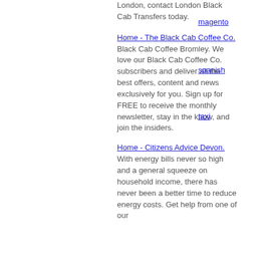London, contact London Black Cab Transfers today.
magento
Home - The Black Cab Coffee Co.
Black Cab Coffee Bromley. We love our Black Cab Coffee Co. subscribers and deliver all the best offers, content and news exclusively for you. Sign up for FREE to receive the monthly newsletter, stay in the know, and join the insiders.
spanish
taxi
Home - Citizens Advice Devon.
With energy bills never so high and a general squeeze on household income, there has never been a better time to reduce energy costs. Get help from one of our